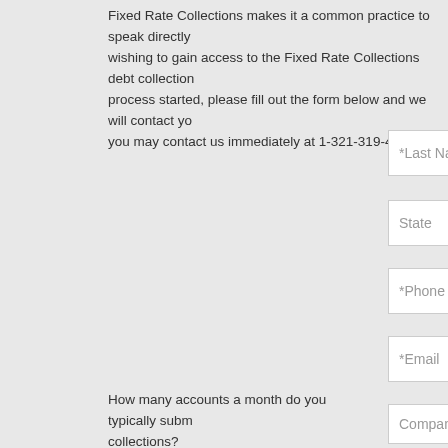Fixed Rate Collections makes it a common practice to speak directly wishing to gain access to the Fixed Rate Collections debt collection process started, please fill out the form below and we will contact yo you may contact us immediately at 1-321-319-4131
*First Name
*Last Name
State
*Phone
*Email
Company
How many accounts a month do you typically subm collections?